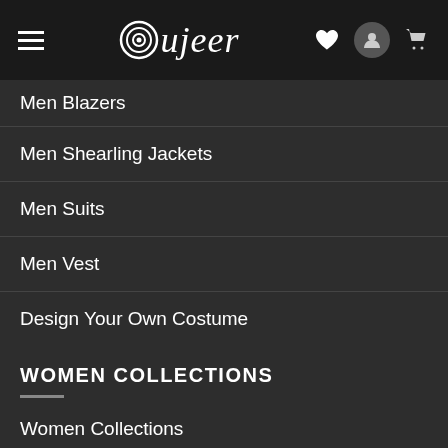oujeer — navigation header with hamburger menu, logo, heart icon, user icon, cart icon
Men Blazers
Men Shearling Jackets
Men Suits
Men Vest
Design Your Own Costume
WOMEN COLLECTIONS
Women Collections
Women Leather Jacket
Women Biker Jackets